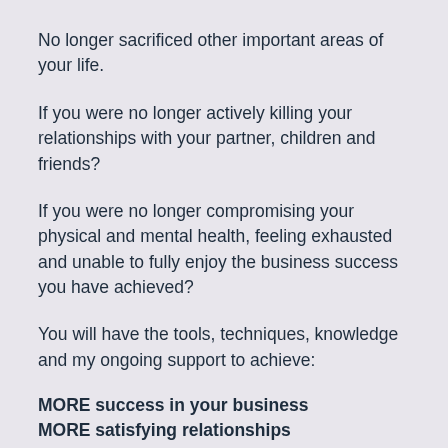No longer sacrificed other important areas of your life.
If you were no longer actively killing your relationships with your partner, children and friends?
If you were no longer compromising your physical and mental health, feeling exhausted and unable to fully enjoy the business success you have achieved?
You will have the tools, techniques, knowledge and my ongoing support to achieve:
MORE success in your business
MORE satisfying relationships